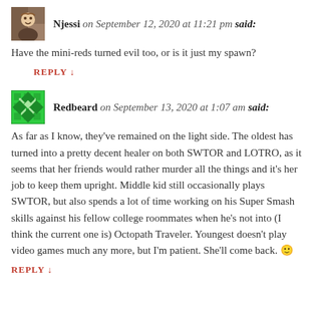Njessi on September 12, 2020 at 11:21 pm said:
Have the mini-reds turned evil too, or is it just my spawn?
REPLY ↓
Redbeard on September 13, 2020 at 1:07 am said:
As far as I know, they've remained on the light side. The oldest has turned into a pretty decent healer on both SWTOR and LOTRO, as it seems that her friends would rather murder all the things and it's her job to keep them upright. Middle kid still occasionally plays SWTOR, but also spends a lot of time working on his Super Smash skills against his fellow college roommates when he's not into (I think the current one is) Octopath Traveler. Youngest doesn't play video games much any more, but I'm patient. She'll come back. 🙂
REPLY ↓